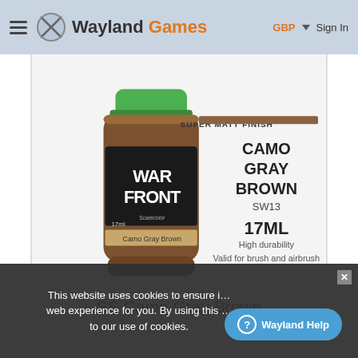Wayland Games — GBP Sign In
[Figure (photo): Product image of War Front SS Camo Gray Brown paint bottle (17ml) by Scalecolor. Brown cylindrical bottle with green cap, black label reading WAR FRONT, with text CAMO GRAY BROWN SW13, SUPER MATT FINISH, 17ML, High durability, Valid for brush and airbrush]
SS Camo Gray Brown
This website uses cookies to ensure i… web experience for you. By using this … to our use of cookies.